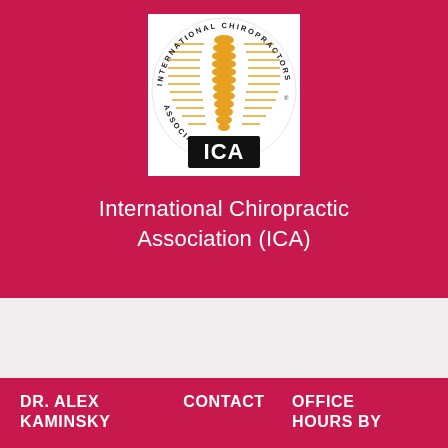[Figure (logo): International Chiropractors Association (ICA) logo: circular emblem with orange spinal column graphic and text 'INTERNATIONAL CHIROPRACTORS ASSOCIATION' around the border, with 'ICA' in white text on black rectangle at bottom]
International Chiropractic Association (ICA)
DR. ALEX KAMINSKY
CONTACT
OFFICE HOURS BY